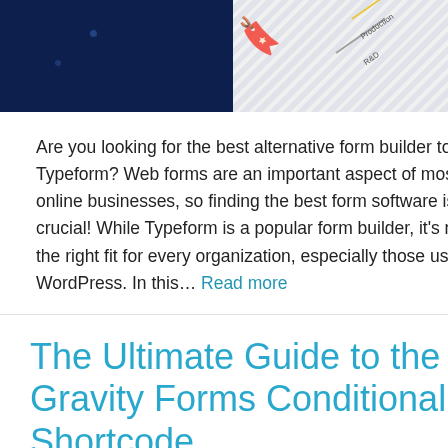[Figure (illustration): Partial screenshot of a blog article banner image showing a dark navy left section with dots and a light grey hatched right section with a map pin icon and diagonal labels reading 'Production' and 'R&D'.]
Are you looking for the best alternative form builder to Typeform? Web forms are an important aspect of most online businesses, so finding the best form software is crucial! While Typeform is a popular form builder, it’s not the right fit for every organization, especially those using WordPress. In this… Read more
The Ultimate Guide to the Gravity Forms Conditional Shortcode